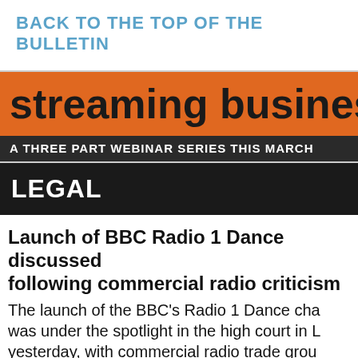BACK TO THE TOP OF THE BULLETIN
[Figure (other): Orange banner with large bold text reading 'streaming business ex' and dark strip below with 'A THREE PART WEBINAR SERIES THIS MARCH']
LEGAL
Launch of BBC Radio 1 Dance discussed following commercial radio criticism
The launch of the BBC's Radio 1 Dance cha was under the spotlight in the high court in L yesterday, with commercial radio trade grou arguing that the BBC should have properly commercial rivals before putting the new se